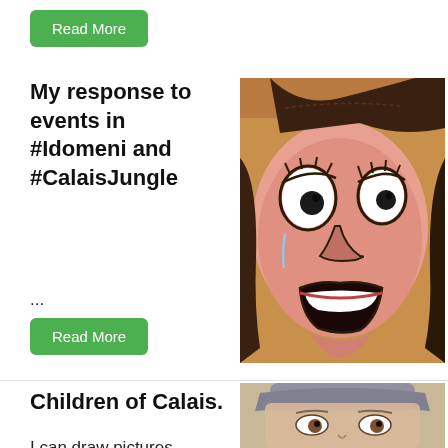Read More
My response to events in #Idomeni and #CalaisJungle
[Figure (illustration): Expressive drawing/painting of a person's face with wide shocked eyes, open mouth, and bold black outlines on a pink/orange background]
...
Read More
Children of Calais.
I can draw pictures.
That's something I
[Figure (illustration): Portrait drawing/painting of a young person with short grey-brown hair, and brown eyes, looking directly forward]